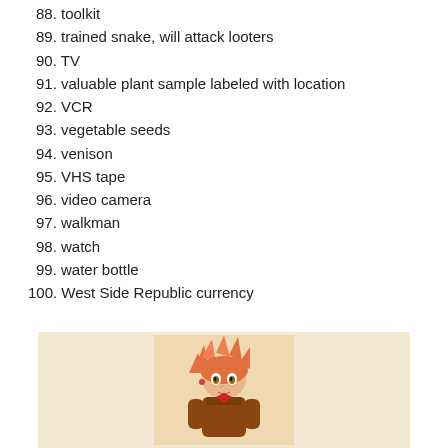88. toolkit
89. trained snake, will attack looters
90. TV
91. valuable plant sample labeled with location
92. VCR
93. vegetable seeds
94. venison
95. VHS tape
96. video camera
97. walkman
98. watch
99. water bottle
100. West Side Republic currency
[Figure (illustration): Anime-style character illustration of a young person with spiky orange/pink hair, wearing a brown outfit, shown from roughly waist up on a light orange/tan background.]